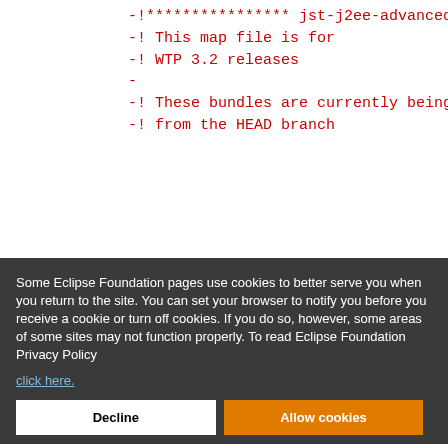-!**************** jst-j2ee-advanced.map
-! This map file is for
-! WTP 3.2 releases
-
-! These bundles are currently being developed a...
-! from the HEAD branch
[Figure (screenshot): Eclipse Foundation cookie consent overlay dialog with Decline and Allow cookies buttons, overlaying source code diff content in red and blue monospace font]
@@ -1,14 +0,0 @@